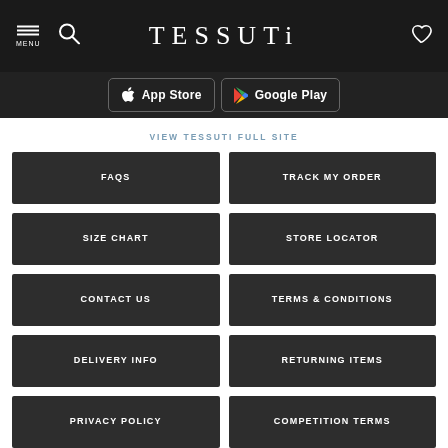TESSUTI
[Figure (screenshot): App Store and Google Play download buttons on dark bar]
VIEW TESSUTI FULL SITE
FAQS
TRACK MY ORDER
SIZE CHART
STORE LOCATOR
CONTACT US
TERMS & CONDITIONS
DELIVERY INFO
RETURNING ITEMS
PRIVACY POLICY
COMPETITION TERMS
DELIVERY & OFFER TERMS
UK MODERN SLAVERY ACT DISCLOSURE